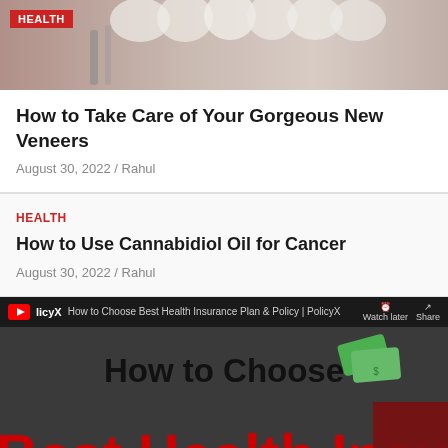[Figure (photo): Dental veneers/teeth photo with red HEALTH badge overlay]
How to Take Care of Your Gorgeous New Veneers
August 30, 2022 / Rahul
HEALTH
How to Use Cannabidiol Oil for Cancer
August 30, 2022 / Rahul
[Figure (screenshot): YouTube video thumbnail: How to Choose Best Health Insurance Plan & Policy | PolicyX, showing bold text 'How to Choose Best Health Insurance Plan' with doctor, money, heart and clipboard illustrations]